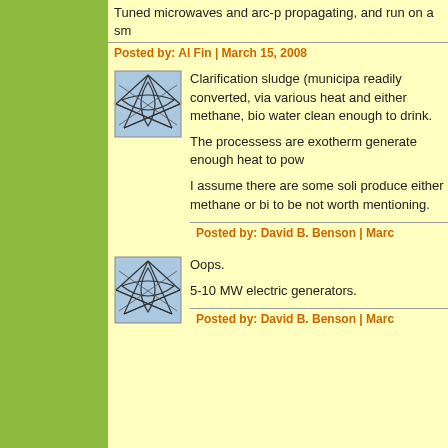Tuned microwaves and arc-p propagating, and run on a sm
Posted by: Al Fin | March 15, 2008
[Figure (illustration): Small avatar image showing intersecting lines/curves forming a geometric pattern on a light blue background]
Clarification sludge (municipa readily converted, via various heat and either methane, bio water clean enough to drink.

The processess are exotherm generate enough heat to pow

I assume there are some soli produce either methane or bi to be not worth mentioning.
Posted by: David B. Benson | Marc
[Figure (illustration): Small avatar image showing intersecting lines/curves forming a geometric pattern on a light blue background]
Oops.

5-10 MW electric generators.
Posted by: David B. Benson | Marc